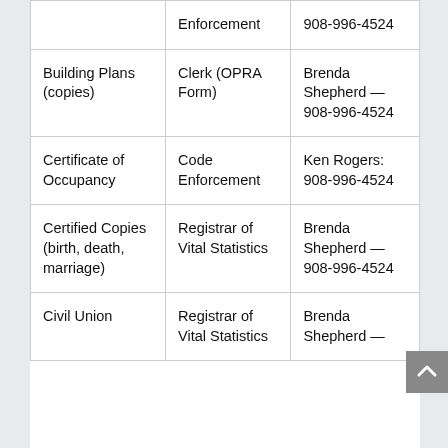|  | Enforcement | 908-996-4524 |
| Building Plans (copies) | Clerk (OPRA Form) | Brenda Shepherd — 908-996-4524 |
| Certificate of Occupancy | Code Enforcement | Ken Rogers: 908-996-4524 |
| Certified Copies (birth, death, marriage) | Registrar of Vital Statistics | Brenda Shepherd — 908-996-4524 |
| Civil Union | Registrar of Vital Statistics | Brenda Shepherd — |